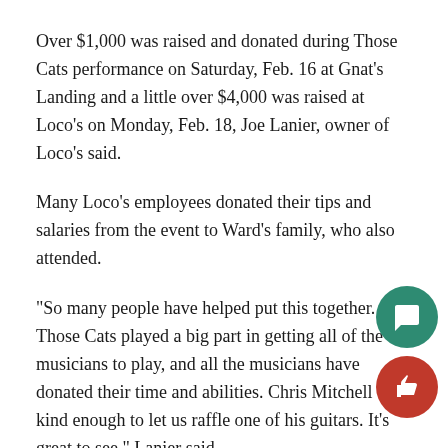Over $1,000 was raised and donated during Those Cats performance on Saturday, Feb. 16 at Gnat’s Landing and a little over $4,000 was raised at Loco’s on Monday, Feb. 18, Joe Lanier, owner of Loco’s said.
Many Loco’s employees donated their tips and salaries from the event to Ward’s family, who also attended.
“So many people have helped put this together. Those Cats played a big part in getting all of the musicians to play, and all the musicians have donated their time and abilities. Chris Mitchell was kind enough to let us raffle one of his guitars. It’s great to see,” Lanier said.
Statesboro singer-songwriters Jake Manahan, Jason La… and lead singer of Those Cats, Cyril Durant, performed fo… free Monday night during “Jamming for Nick” at Loco’…
The band donated all of the money made from sales of their…